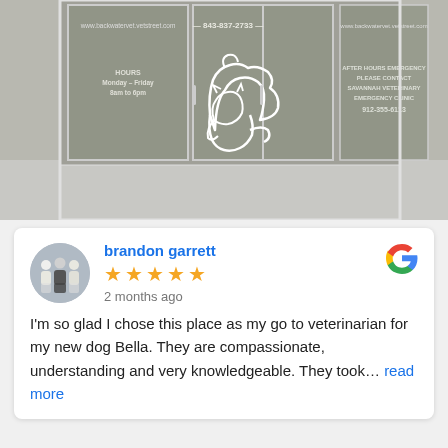[Figure (photo): Photo of a veterinary clinic entrance with glass doors. Text on doors reads: www.backwatervet.vetstreet.com, 843-837-2733, HOURS Monday–Friday 8am to 6pm, AFTER HOURS EMERGENCY PLEASE CONTACT SAVANNAH VETERINARY EMERGENCY CLINIC 912-355-6113. White outline silhouette of a cat and dog on center door.]
brandon garrett
★★★★★
2 months ago
I'm so glad I chose this place as my go to veterinarian for my new dog Bella. They are compassionate, understanding and very knowledgeable. They took… read more